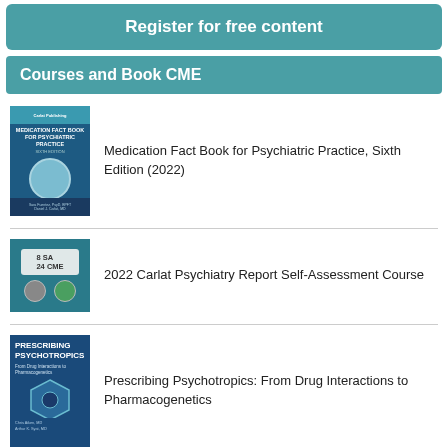Register for free content
Courses and Book CME
[Figure (illustration): Book cover: Medication Fact Book for Psychiatric Practice, Sixth Edition]
Medication Fact Book for Psychiatric Practice, Sixth Edition (2022)
[Figure (illustration): Course cover: 2022 Carlat Psychiatry Report Self-Assessment Course with 8 SA 24 CME badge]
2022 Carlat Psychiatry Report Self-Assessment Course
[Figure (illustration): Book cover: Prescribing Psychotropics: From Drug Interactions to Pharmacogenetics]
Prescribing Psychotropics: From Drug Interactions to Pharmacogenetics